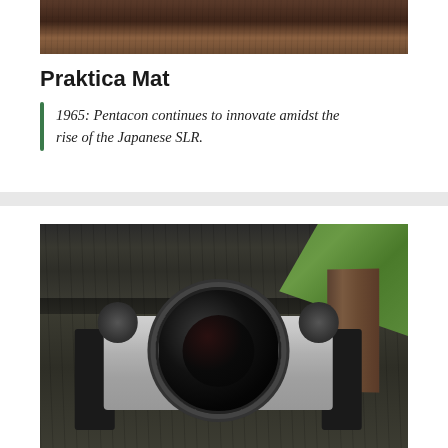[Figure (photo): Partial view of dark furry animal texture at the top of the page]
Praktica Mat
1965: Pentacon continues to innovate amidst the rise of the Japanese SLR.
[Figure (photo): A Pentax ME IF SLR film camera with Asahi Opt. Co. Japan SMC Pentax-M 1:1.7 50mm lens, sitting on wooden bench slats with green grass visible in background]